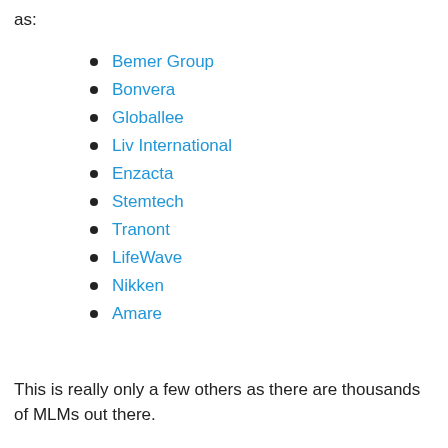as:
Bemer Group
Bonvera
Globallee
Liv International
Enzacta
Stemtech
Tranont
LifeWave
Nikken
Amare
This is really only a few others as there are thousands of MLMs out there.